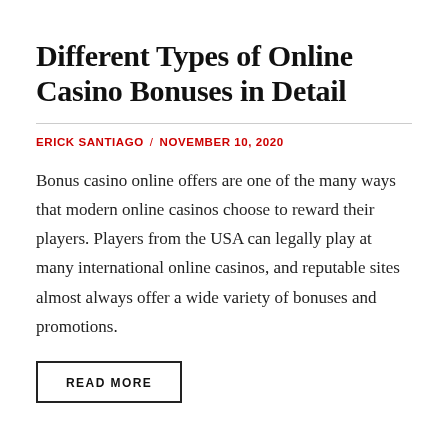Different Types of Online Casino Bonuses in Detail
ERICK SANTIAGO / NOVEMBER 10, 2020
Bonus casino online offers are one of the many ways that modern online casinos choose to reward their players. Players from the USA can legally play at many international online casinos, and reputable sites almost always offer a wide variety of bonuses and promotions.
READ MORE